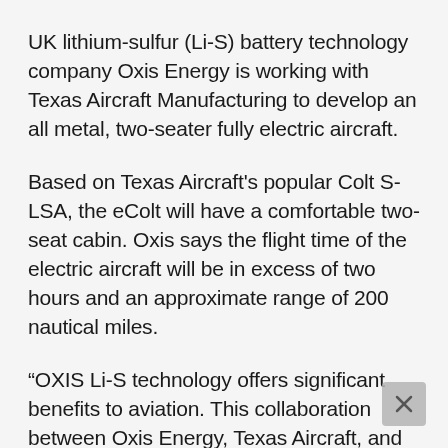UK lithium-sulfur (Li-S) battery technology company Oxis Energy is working with Texas Aircraft Manufacturing to develop an all metal, two-seater fully electric aircraft.
Based on Texas Aircraft's popular Colt S-LSA, the eColt will have a comfortable two-seat cabin. Oxis says the flight time of the electric aircraft will be in excess of two hours and an approximate range of 200 nautical miles.
“OXIS Li-S technology offers significant benefits to aviation. This collaboration between Oxis Energy, Texas Aircraft, and two other forward-thinking Brazilian corporations will put Brazil at the forefront of designing, manufacturing and exporting the electrification of